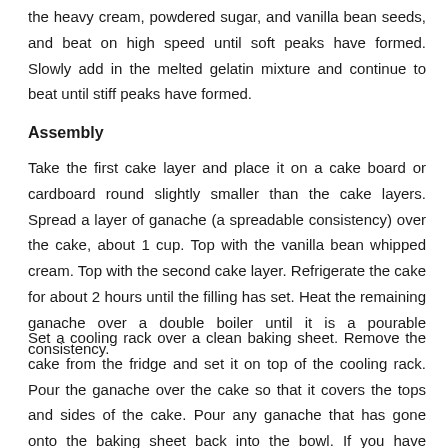the heavy cream, powdered sugar, and vanilla bean seeds, and beat on high speed until soft peaks have formed. Slowly add in the melted gelatin mixture and continue to beat until stiff peaks have formed.
Assembly
Take the first cake layer and place it on a cake board or cardboard round slightly smaller than the cake layers. Spread a layer of ganache (a spreadable consistency) over the cake, about 1 cup. Top with the vanilla bean whipped cream. Top with the second cake layer. Refrigerate the cake for about 2 hours until the filling has set. Heat the remaining ganache over a double boiler until it is a pourable consistency.
Set a cooling rack over a clean baking sheet. Remove the cake from the fridge and set it on top of the cooling rack. Pour the ganache over the cake so that it covers the tops and sides of the cake. Pour any ganache that has gone onto the baking sheet back into the bowl. If you have enough ganache, give the cake a second coating. Sprinkle